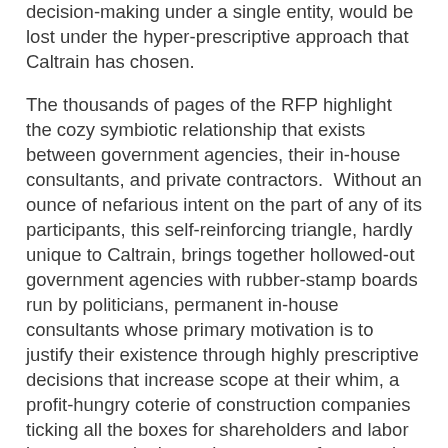decision-making under a single entity, would be lost under the hyper-prescriptive approach that Caltrain has chosen.
The thousands of pages of the RFP highlight the cozy symbiotic relationship that exists between government agencies, their in-house consultants, and private contractors.  Without an ounce of nefarious intent on the part of any of its participants, this self-reinforcing triangle, hardly unique to Caltrain, brings together hollowed-out government agencies with rubber-stamp boards run by politicians, permanent in-house consultants whose primary motivation is to justify their existence through highly prescriptive decisions that increase scope at their whim, a profit-hungry coterie of construction companies ticking all the boxes for shareholders and labor interests, and a byzantine system of contracting regulations and reporting requirements, quite ironically intended to prevent taxpayers from being defrauded.  The results of this firmly-entrenched Transportation Industrial Complex are projects that deliver less and cost more, typically three times the going rate in other first-world countries where government agencies are centralized, smart, and employ an experienced staff of technocrats